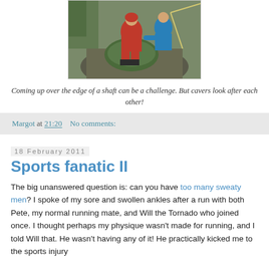[Figure (photo): Two cavers in red and blue gear helping someone come up over the edge of a rocky shaft outdoors]
Coming up over the edge of a shaft can be a challenge. But cavers look after each other!
Margot at 21:20   No comments:
18 February 2011
Sports fanatic II
The big unanswered question is: can you have too many sweaty men? I spoke of my sore and swollen ankles after a run with both Pete, my normal running mate, and Will the Tornado who joined once. I thought perhaps my physique wasn't made for running, and I told Will that. He wasn't having any of it! He practically kicked me to the sports injury